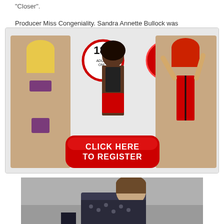"Closer".
Producer Miss Congeniality. Sandra Annette Bullock was
[Figure (photo): Adult dating advertisement banner showing three women in swimwear/lingerie with '18+ Adults Only' badge, 'Hot Dating Here!' badge, and a red 'Click Here To Register' button.]
[Figure (photo): Photograph of a person with short brown hair, seated, viewed from the side, wearing a patterned top, in what appears to be an indoor setting.]